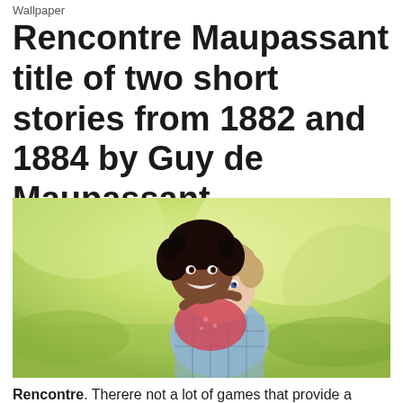Wallpaper
Rencontre Maupassant title of two short stories from 1882 and 1884 by Guy de Maupassant.
[Figure (photo): A smiling couple outdoors. A young woman with curly dark hair leans on the back of a young man with light hair wearing a plaid shirt. Both are smiling broadly against a blurred green outdoor background.]
Rencontre. Therere not a lot of games that provide a possibility to change them as you